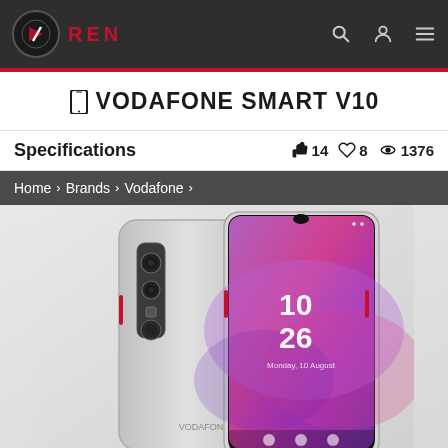REN
📱 VODAFONE SMART V10
Specifications  👍 14  ♡ 8  👁 1376
Home > Brands > Vodafone >
[Figure (photo): Vodafone Smart V10 smartphone shown from front and back. The back shows a silver/grey carbon-fiber textured design with dual camera setup. The front shows the screen with time 10:26 and a colorful purple-pink wallpaper.]